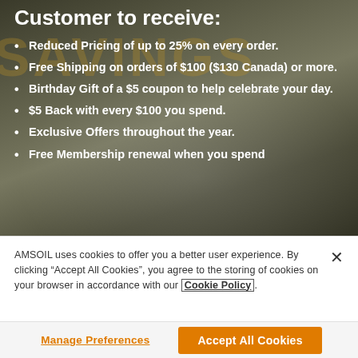[Figure (photo): Background image of a white sports car (Corvette) on a dark, partially wooded track setting, with a semi-transparent dark overlay and 'SAVINGS' text watermark behind the content.]
Customer to receive:
Reduced Pricing of up to 25% on every order.
Free Shipping on orders of $100 ($130 Canada) or more.
Birthday Gift of a $5 coupon to help celebrate your day.
$5 Back with every $100 you spend.
Exclusive Offers throughout the year.
Free Membership renewal when you spend
AMSOIL uses cookies to offer you a better user experience. By clicking “Accept All Cookies”, you agree to the storing of cookies on your browser in accordance with our Cookie Policy.
Manage Preferences
Accept All Cookies